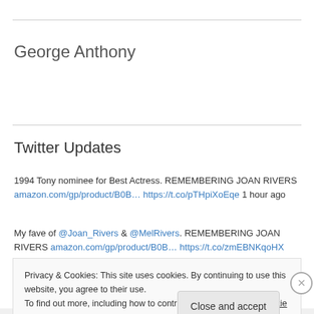George Anthony
Twitter Updates
1994 Tony nominee for Best Actress. REMEMBERING JOAN RIVERS amazon.com/gp/product/B0B… https://t.co/pTHpiXoEqe 1 hour ago
My fave of @Joan_Rivers & @MelRivers. REMEMBERING JOAN RIVERS amazon.com/gp/product/B0B… https://t.co/zmEBNKqoHX
Privacy & Cookies: This site uses cookies. By continuing to use this website, you agree to their use.
To find out more, including how to control cookies, see here: Cookie Policy
Close and accept